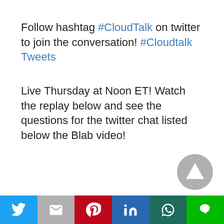Follow hashtag #CloudTalk on twitter to join the conversation! #Cloudtalk Tweets
Live Thursday at Noon ET! Watch the replay below and see the questions for the twitter chat listed below the Blab video!
[Figure (other): Share bar with social media icons: Twitter, Gmail, Pinterest, LinkedIn, WhatsApp, LINE]